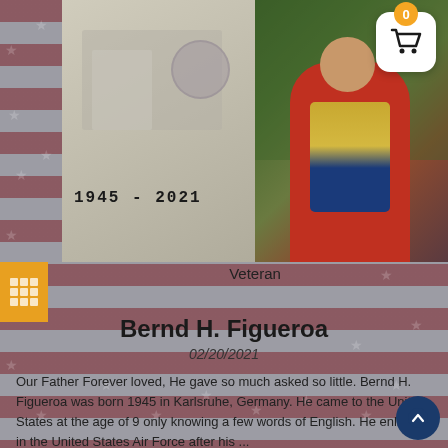[Figure (photo): Two photos side by side: left shows a military ID/document with text '1945 - 2021', right shows a person in a red shirt sitting outdoors]
Veteran
Bernd H. Figueroa
02/20/2021
Our Father Forever loved, He gave so much asked so little. Bernd H. Figueroa was born 1945 in Karlsruhe, Germany. He came to the United States at the age of 9 only knowing a few words of English. He enlisted in the United States Air Force after his ...
View